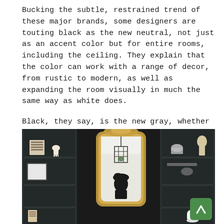Bucking the subtle, restrained trend of these major brands, some designers are touting black as the new neutral, not just as an accent color but for entire rooms, including the ceiling. They explain that the color can work with a range of decor, from rustic to modern, as well as expanding the room visually in much the same way as white does.
Black, they say, is the new gray, whether in matte, metallic, or gloss. It can lend an air of sophistication and even repose to rooms, or can be used to emphasize one or two walls.
[Figure (photo): Interior room with dark black walls, built-in shelving with decorative objects (a white hand sculpture, books, a small figurine), and a large ornate gold-framed mirror reflecting a pendant light fixture in the shape of a birdcage/lantern. A white ceramic mug and other objects appear on lower shelves. A green scroll-to-top button is visible in the bottom right corner.]